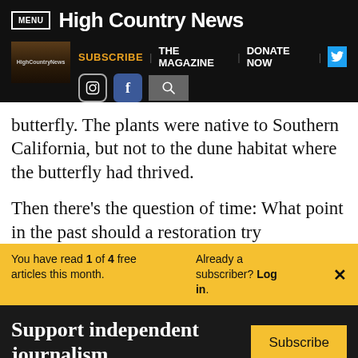MENU | High Country News
[Figure (screenshot): High Country News website navigation bar with logo thumbnail, SUBSCRIBE, THE MAGAZINE, DONATE NOW links, Twitter button, Instagram, Facebook, and search icons]
butterfly. The plants were native to Southern California, but not to the dune habitat where the butterfly had thrived.
Then there's the question of time: What point in the past should a restoration try
You have read 1 of 4 free articles this month. Already a subscriber? Log in. ×
Support independent journalism. Subscribe